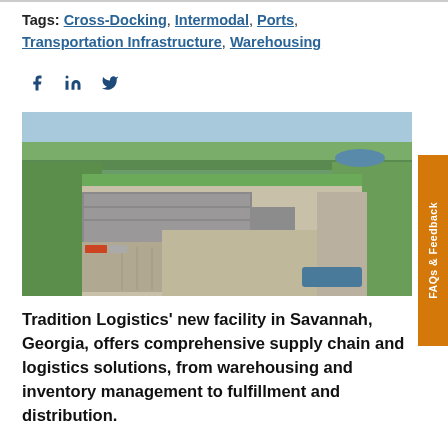Tags: Cross-Docking, Intermodal, Ports, Transportation Infrastructure, Warehousing
[Figure (photo): Aerial view of Tradition Logistics facility in Savannah, Georgia — a large warehouse/distribution complex surrounded by greenery, paved lots, and parking areas.]
Tradition Logistics' new facility in Savannah, Georgia, offers comprehensive supply chain and logistics solutions, from warehousing and inventory management to fulfillment and distribution.